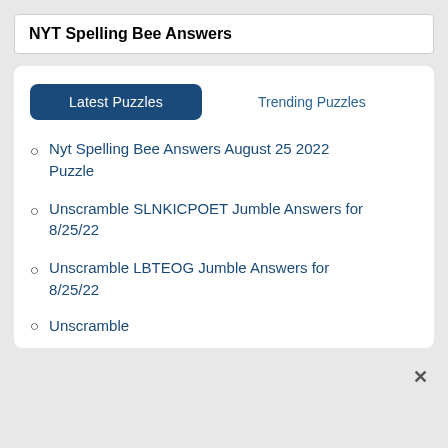NYT Spelling Bee Answers
Latest Puzzles | Trending Puzzles
Nyt Spelling Bee Answers August 25 2022 Puzzle
Unscramble SLNKICPOET Jumble Answers for 8/25/22
Unscramble LBTEOG Jumble Answers for 8/25/22
Unscramble [partial, cut off]